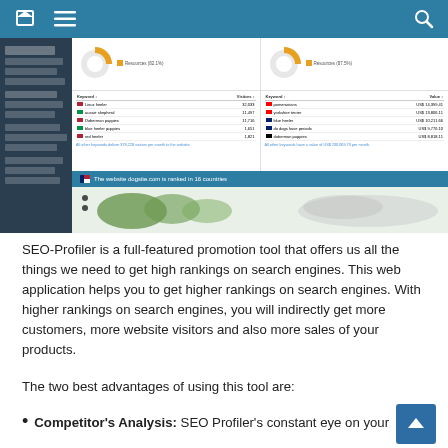[Figure (screenshot): Screenshot of SEO-Profiler web application showing navigation header with home, menu, and search icons in teal, a dark sidebar with navigation items, keyword tables with visitor/value data, donut charts, a blue bar stating 'The website dogsite.com is ranked in 16 countries', and a world map.]
SEO-Profiler is a full-featured promotion tool that offers us all the things we need to get high rankings on search engines. This web application helps you to get higher rankings on search engines. With higher rankings on search engines, you will indirectly get more customers, more website visitors and also more sales of your products.
The two best advantages of using this tool are:
Competitor's Analysis: SEO Profiler's constant eye on your